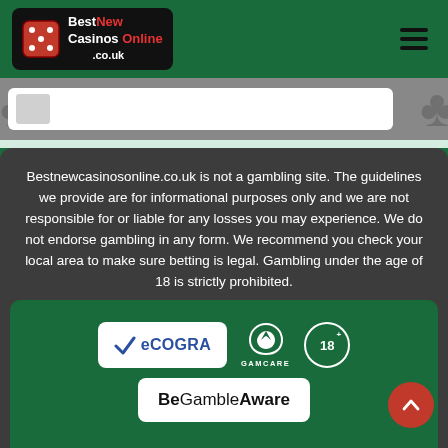Best New Casinos Online .co.uk
[Figure (screenshot): Partial casino listing card with grey clubs-pattern background]
Bestnewcasinosonline.co.uk is not a gambling site. The guidelines we provide are for informational purposes only and we are not responsible for or liable for any losses you may experience. We do not endorse gambling in any form. We recommend you check your local area to make sure betting is legal. Gambling under the age of 18 is strictly prohibited.
[Figure (logo): eCOGRA logo, GAMCARE logo, 18+ logo, BeGambleAware logo]
[Figure (other): Red scroll-to-top arrow button]